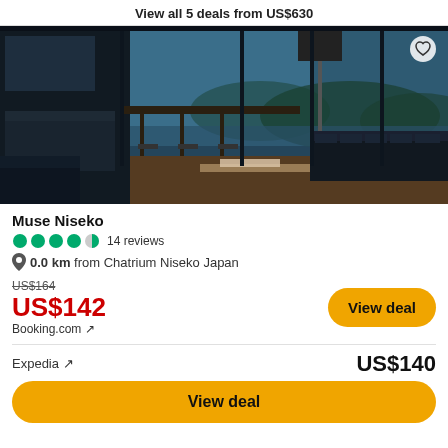View all 5 deals from US$630
[Figure (photo): Interior of Muse Niseko hotel room with dark leather sofa, floor lamp with black shade, dining table with bar stools, and large floor-to-ceiling windows overlooking a mountain and water view. Dark blue tones throughout.]
Muse Niseko
●●●●◐ 14 reviews
0.0 km from Chatrium Niseko Japan
US$164 (strikethrough) US$142 Booking.com ↗
Expedia ↗  US$140
View deal